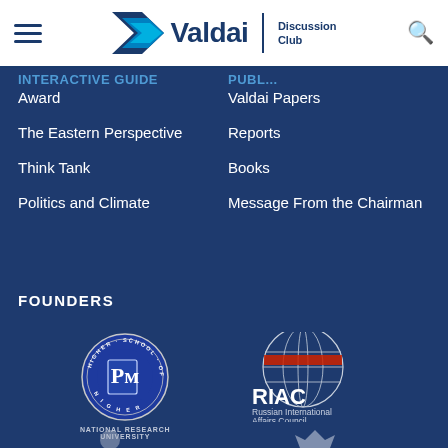Valdai Discussion Club
Award
The Eastern Perspective
Think Tank
Politics and Climate
Valdai Papers
Reports
Books
Message From the Chairman
FOUNDERS
[Figure (logo): Higher School of Economics - National Research University circular logo with HSE emblem]
NATIONAL RESEARCH UNIVERSITY
[Figure (logo): RIAC Russian International Affairs Council logo with globe graphic]
Russian International Affairs Council